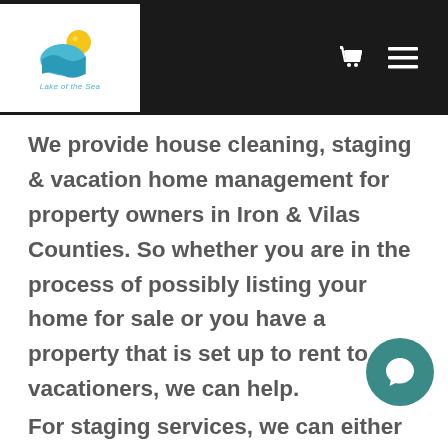[Figure (logo): Lake of the Sea logo with sun and wave graphic on white background, with cart and hamburger menu icons on dark header]
We provide house cleaning, staging & vacation home management for property owners in Iron & Vilas Counties. So whether you are in the process of possibly listing your home for sale or you have a property that is set up to rent to vacationers, we can help.
For staging services, we can either help